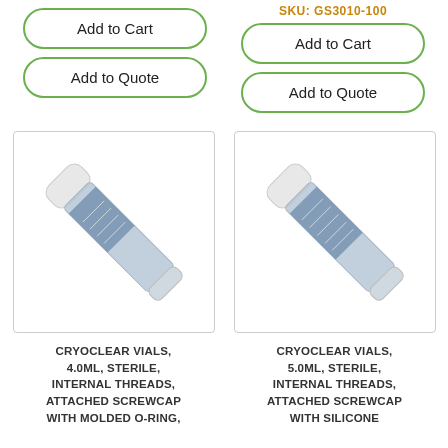Add to Cart
Add to Quote
SKU: GS3010-100
Add to Cart
Add to Quote
[Figure (photo): Cryoclear vial 4.0mL with internal threads and attached screwcap]
[Figure (photo): Cryoclear vial 5.0mL with internal threads and attached screwcap]
CRYOCLEAR VIALS, 4.0ML, STERILE, INTERNAL THREADS, ATTACHED SCREWCAP WITH MOLDED O-RING,
CRYOCLEAR VIALS, 5.0ML, STERILE, INTERNAL THREADS, ATTACHED SCREWCAP WITH SILICONE